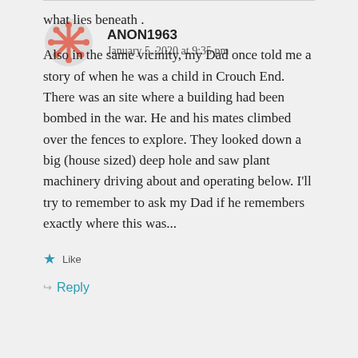what lies beneath .
Also in the same vicinity, my Dad once told me a story of when he was a child in Crouch End. There was an site where a building had been bombed in the war. He and his mates climbed over the fences to explore. They looked down a big (house sized) deep hole and saw plant machinery driving about and operating below. I'll try to remember to ask my Dad if he remembers exactly where this was...
Like
Reply
ANON1963
January 5, 2020 at 9:35 pm